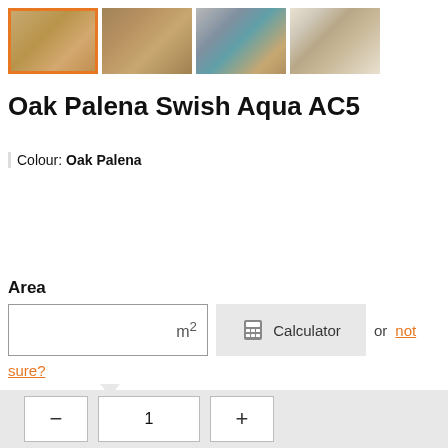[Figure (photo): Four thumbnail images of Oak Palena flooring; first thumbnail is selected with an orange border]
Oak Palena Swish Aqua AC5
Colour: Oak Palena
Area
m² Calculator or not sure?